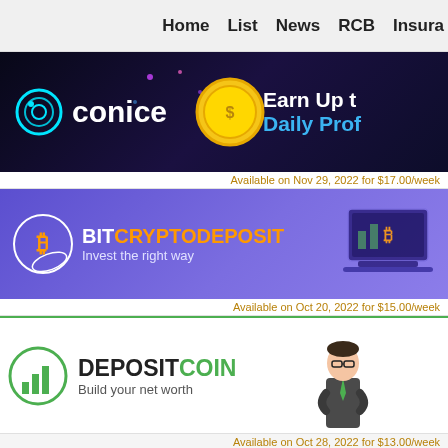Home  List  News  RCB  Insura
[Figure (illustration): Conice banner: dark blue/purple background with gold coin and text 'Earn Up t... Daily Prof...' on right]
Available on Nov 29, 2022 for $17.00/week
[Figure (illustration): BitCryptoDeposit banner: purple gradient background with orange/white logo and laptop graphic, text 'BIT CRYPTODEPOSIT Invest the right way']
Available on Oct 20, 2022 for $15.00/week
[Figure (illustration): DepositCoin banner: white background with green border, businessman in suit, text 'DEPOSITCOIN Build your net worth']
Available on Oct 28, 2022 for $13.00/week
MEMBERS
[Figure (logo): BitProfit.pw logo with text 'fast money online']